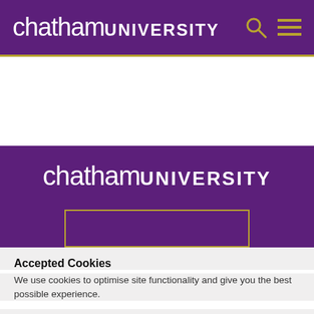chatham UNIVERSITY
[Figure (logo): Chatham University logo and name in white on purple background, with gold divider line]
[Figure (logo): Chatham University logo centered on purple banner with gold outlined rectangle below]
Accepted Cookies
We use cookies to optimise site functionality and give you the best possible experience.
I understand
Settings